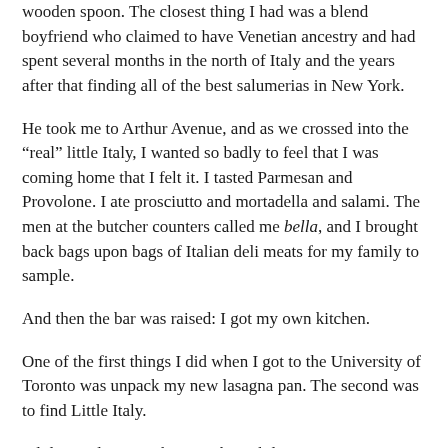wooden spoon. The closest thing I had was a blend boyfriend who claimed to have Venetian ancestry and had spent several months in the north of Italy and the years after that finding all of the best salumerias in New York.
He took me to Arthur Avenue, and as we crossed into the “real” little Italy, I wanted so badly to feel that I was coming home that I felt it. I tasted Parmesan and Provolone. I ate prosciutto and mortadella and salami. The men at the butcher counters called me bella, and I brought back bags upon bags of Italian deli meats for my family to sample.
And then the bar was raised: I got my own kitchen.
One of the first things I did when I got to the University of Toronto was unpack my new lasagna pan. The second was to find Little Italy.
I didn’t realize it at the time, but while Toronto is a city filled with Italians, they’re not the same kind of Italians you find in the Bronx or Boston’s North End. The red-sauce joints that dot all of New York’s streets are nowhere to be found in a city where Italian immigration happened later and from the